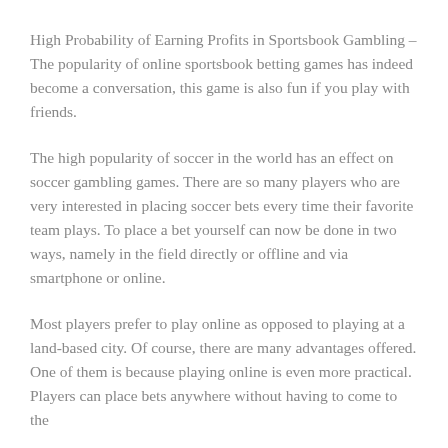High Probability of Earning Profits in Sportsbook Gambling – The popularity of online sportsbook betting games has indeed become a conversation, this game is also fun if you play with friends.
The high popularity of soccer in the world has an effect on soccer gambling games. There are so many players who are very interested in placing soccer bets every time their favorite team plays. To place a bet yourself can now be done in two ways, namely in the field directly or offline and via smartphone or online.
Most players prefer to play online as opposed to playing at a land-based city. Of course, there are many advantages offered. One of them is because playing online is even more practical. Players can place bets anywhere without having to come to the